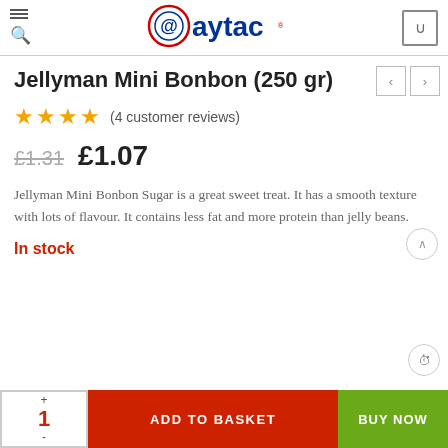@aytac
Jellyman Mini Bonbon (250 gr)
★★★★ (4 customer reviews)
£1.31  £1.07
Jellyman Mini Bonbon Sugar is a great sweet treat. It has a smooth texture with lots of flavour. It contains less fat and more protein than jelly beans.
In stock
1  ADD TO BASKET  BUY NOW